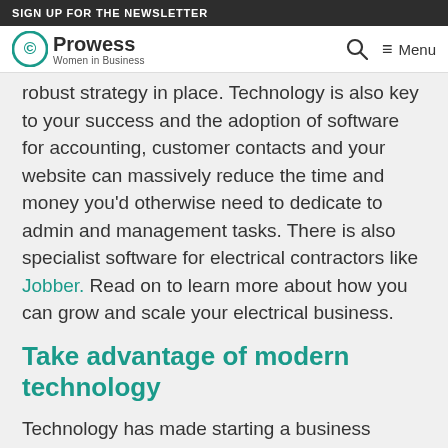SIGN UP FOR THE NEWSLETTER
Prowess Women in Business — Menu
robust strategy in place. Technology is also key to your success and the adoption of software for accounting, customer contacts and your website can massively reduce the time and money you'd otherwise need to dedicate to admin and management tasks. There is also specialist software for electrical contractors like Jobber. Read on to learn more about how you can grow and scale your electrical business.
Take advantage of modern technology
Technology has made starting a business easier than ever for many people and this extends to